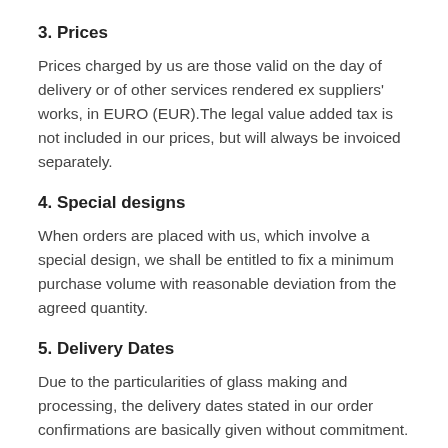3. Prices
Prices charged by us are those valid on the day of delivery or of other services rendered ex suppliers' works, in EURO (EUR).The legal value added tax is not included in our prices, but will always be invoiced separately.
4. Special designs
When orders are placed with us, which involve a special design, we shall be entitled to fix a minimum purchase volume with reasonable deviation from the agreed quantity.
5. Delivery Dates
Due to the particularities of glass making and processing, the delivery dates stated in our order confirmations are basically given without commitment. Our contractual obligations are furthermore, subject to